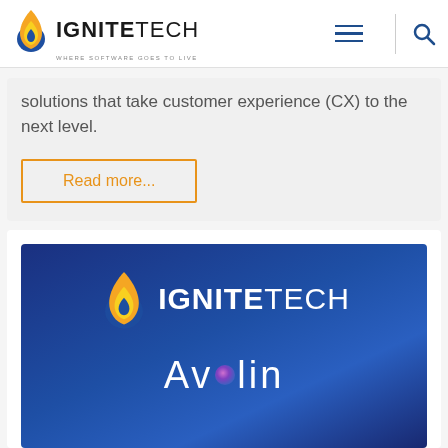IGNITETECH — WHERE SOFTWARE GOES TO LIVE
solutions that take customer experience (CX) to the next level.
Read more...
[Figure (logo): IgniteTech and Avolin logos on blue gradient background]